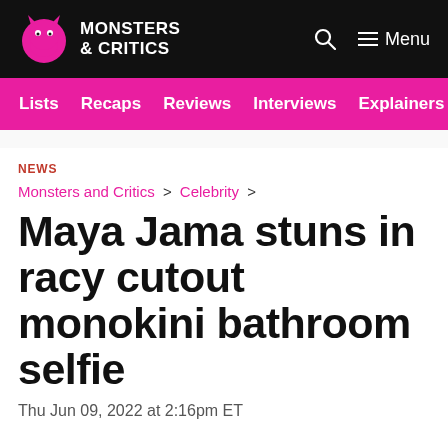MONSTERS & CRITICS
Lists  Recaps  Reviews  Interviews  Explainers
NEWS
Monsters and Critics > Celebrity >
Maya Jama stuns in racy cutout monokini bathroom selfie
Thu Jun 09, 2022 at 2:16pm ET